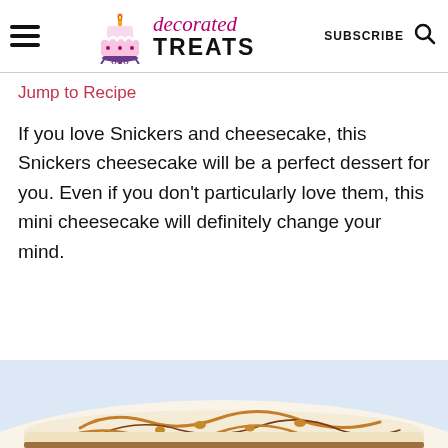decorated TREATS | SUBSCRIBE
Jump to Recipe
If you love Snickers and cheesecake, this Snickers cheesecake will be a perfect dessert for you. Even if you don't particularly love them, this mini cheesecake will definitely change your mind.
[Figure (photo): Close-up photo of a mini Snickers cheesecake slice with caramel drizzle and chocolate topping on a light blue background]